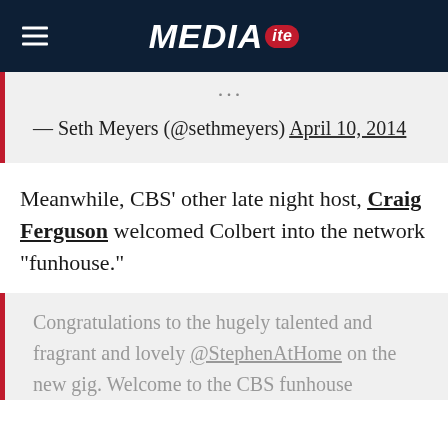MEDIAITE
... — Seth Meyers (@sethmeyers) April 10, 2014
Meanwhile, CBS' other late night host, Craig Ferguson welcomed Colbert into the network “funhouse.”
Congratulations to the hugely talented and fragrant and lovely @StephenAtHome on the new gig. Welcome to the CBS funhouse